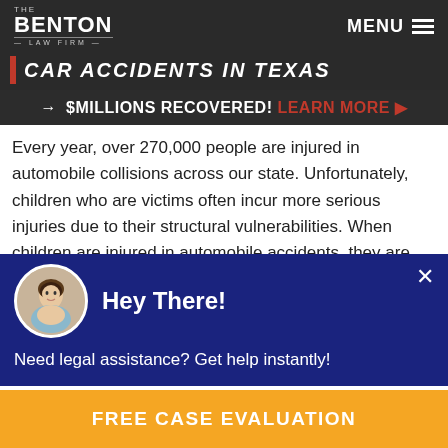The Benton Law Firm — MENU
CAR ACCIDENTS IN TEXAS
→ $MILLIONS RECOVERED! LEARN MORE ▶
Every year, over 270,000 people are injured in automobile collisions across our state. Unfortunately, children who are victims often incur more serious injuries due to their structural vulnerabilities. When children are injured in automobile accidents, they are often forced into hospitals for medical treatment. Many children suffer overwhelming physical and mental consequences of their accidents. When victims are
Hey There!
Need legal assistance? Get help instantly!
FREE CASE EVALUATION